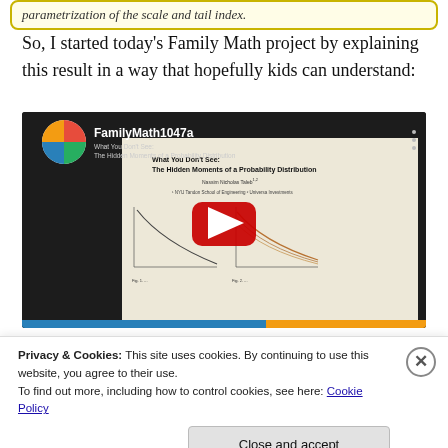parametrization of the scale and tail index.
So, I started today's Family Math project by explaining this result in a way that hopefully kids can understand:
[Figure (screenshot): YouTube video thumbnail showing 'FamilyMath1047a' with title 'What You Don't See: The Hidden Moments of a Probability Distribution' by Nassim Nicholas Taleb, NYU Tandon School of Engineering / Universa Investments. Shows probability distribution charts on the slide. Red play button in center.]
Privacy & Cookies: This site uses cookies. By continuing to use this website, you agree to their use.
To find out more, including how to control cookies, see here: Cookie Policy
Close and accept